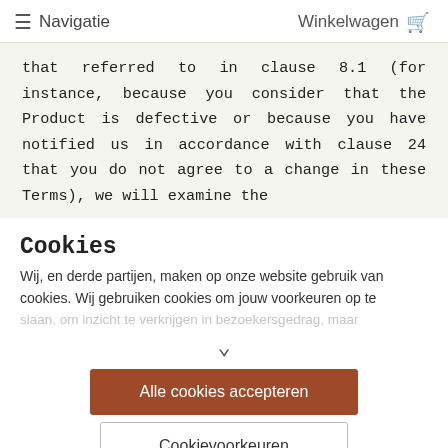≡ Navigatie    Winkelwagen 🛒
that referred to in clause 8.1 (for instance, because you consider that the Product is defective or because you have notified us in accordance with clause 24 that you do not agree to a change in these Terms), we will examine the
Cookies
Wij, en derde partijen, maken op onze website gebruik van cookies. Wij gebruiken cookies om jouw voorkeuren op te slaan, om inzicht te verkrijgen in bezoekersgedrag, maar
Alle cookies accepteren
Cookievoorkeuren